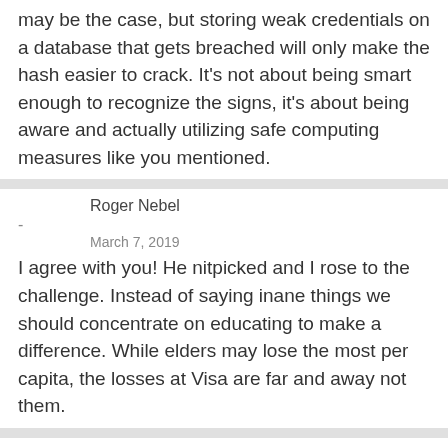may be the case, but storing weak credentials on a database that gets breached will only make the hash easier to crack. It’s not about being smart enough to recognize the signs, it’s about being aware and actually utilizing safe computing measures like you mentioned.
Roger Nebel
-
March 7, 2019
I agree with you! He nitpicked and I rose to the challenge. Instead of saying inane things we should concentrate on educating to make a difference. While elders may lose the most per capita, the losses at Visa are far and away not them.
Nikon 1
-
March 8, 2019
Especially FaceCrook!